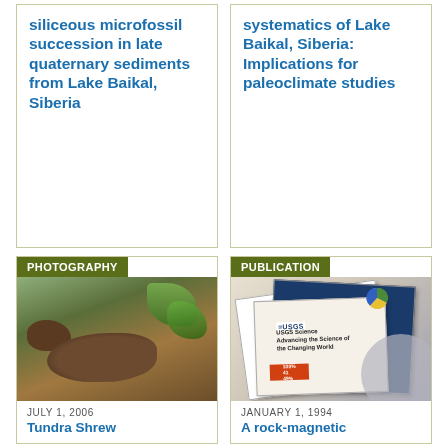siliceous microfossil succession in late quaternary sediments from Lake Baikal, Siberia
systematics of Lake Baikal, Siberia: Implications for paleoclimate studies
PHOTOGRAPHY
[Figure (photo): Photo of a Tundra Shrew animal on soil with green plants]
JULY 1, 2006
Tundra Shrew
PUBLICATION
[Figure (photo): Photo of USGS Science publications and documents spread out]
JANUARY 1, 1994
A rock-magnetic